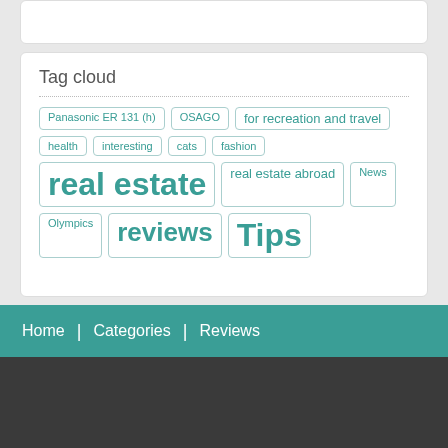Tag cloud
Panasonic ER 131 (h)
OSAGO
for recreation and travel
health
interesting
cats
fashion
real estate
real estate abroad
News
Olympics
reviews
Tips
Home | Categories | Reviews